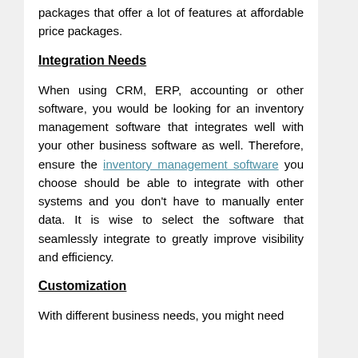packages that offer a lot of features at affordable price packages.
Integration Needs
When using CRM, ERP, accounting or other software, you would be looking for an inventory management software that integrates well with your other business software as well. Therefore, ensure the inventory management software you choose should be able to integrate with other systems and you don't have to manually enter data. It is wise to select the software that seamlessly integrate to greatly improve visibility and efficiency.
Customization
With different business needs, you might need